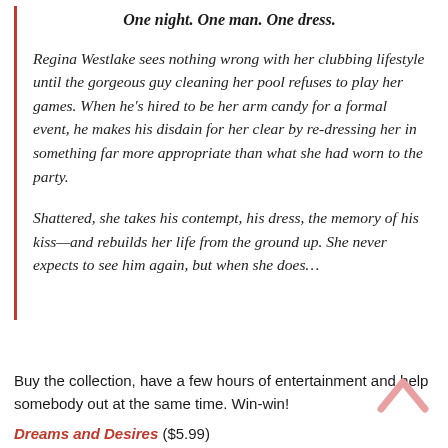One night. One man. One dress.
Regina Westlake sees nothing wrong with her clubbing lifestyle until the gorgeous guy cleaning her pool refuses to play her games. When he's hired to be her arm candy for a formal event, he makes his disdain for her clear by re-dressing her in something far more appropriate than what she had worn to the party.
Shattered, she takes his contempt, his dress, the memory of his kiss—and rebuilds her life from the ground up. She never expects to see him again, but when she does…
Buy the collection, have a few hours of entertainment and help somebody out at the same time. Win-win!
Dreams and Desires ($5.99)